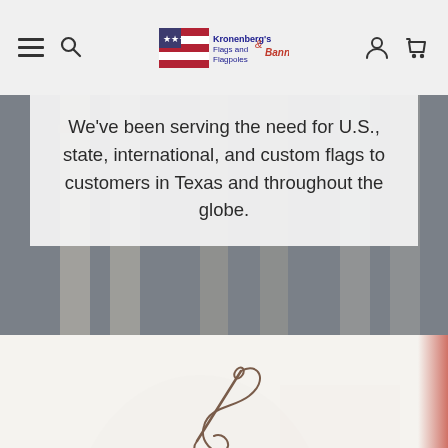Kronenberg's Flags and Flagpoles & Banners — navigation header with hamburger menu, search, logo, account, and cart icons
We've been serving the need for U.S., state, international, and custom flags to customers in Texas and throughout the globe.
[Figure (illustration): Needle and thread icon in dark brown/gray color]
Made in the USA
We manufacture flags and custom banners in-house, and maintain a large inventory of flags and flagpoles at our Houston facility.